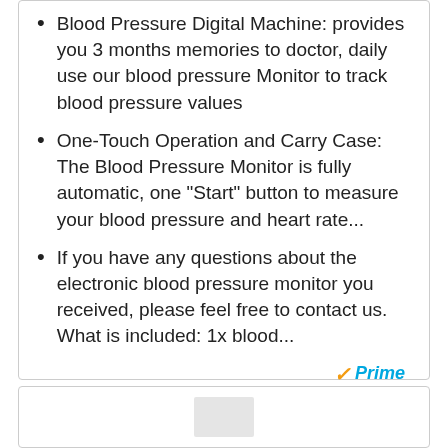Blood Pressure Digital Machine: provides you 3 months memories to doctor, daily use our blood pressure Monitor to track blood pressure values
One-Touch Operation and Carry Case: The Blood Pressure Monitor is fully automatic, one "Start" button to measure your blood pressure and heart rate...
If you have any questions about the electronic blood pressure monitor you received, please feel free to contact us. What is included: 1x blood...
[Figure (logo): Amazon Prime logo with checkmark and 'Prime' text in blue italic]
[Figure (other): Check on Amazon button with shopping cart icon, golden/orange gradient background]
BESTSELLER NO. 8